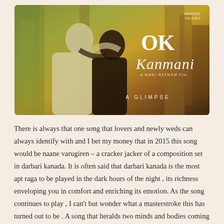[Figure (photo): Movie poster for 'OK Kanmani', a Mani Ratnam film. Shows a couple in an embrace against a painterly green and amber background. Text on poster reads 'OK Kanmani', 'a Mani Ratnam film', 'A GLIMPSE', and 'Madras Talkies' logo in top right.]
There is always that one song that lovers and newly weds can always identify with and I bet my money that in 2015 this song would be naane varugiren – a cracker jacker of a composition set in darbari kanada. It is often said that darbari kanada is the most apt raga to be played in the dark hours of the night , its richness enveloping you in comfort and enriching its emotion. As the song continues to play , I can't but wonder what a masterstroke this has turned out to be . A song that heralds two minds and bodies coming together , set in a raga that is apt for the night ,